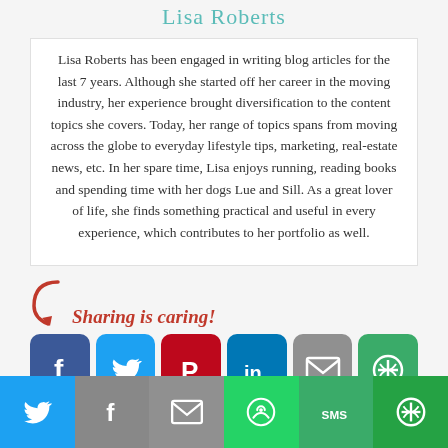Lisa Roberts
Lisa Roberts has been engaged in writing blog articles for the last 7 years. Although she started off her career in the moving industry, her experience brought diversification to the content topics she covers. Today, her range of topics spans from moving across the globe to everyday lifestyle tips, marketing, real-estate news, etc. In her spare time, Lisa enjoys running, reading books and spending time with her dogs Lue and Sill. As a great lover of life, she finds something practical and useful in every experience, which contributes to her portfolio as well.
Sharing is caring!
[Figure (infographic): Row of social share buttons: Facebook (blue), Twitter (blue), Pinterest (red), LinkedIn (blue), Email (grey), More (green). Below: bottom bar with Twitter, Facebook, Email, WhatsApp, SMS, More buttons.]